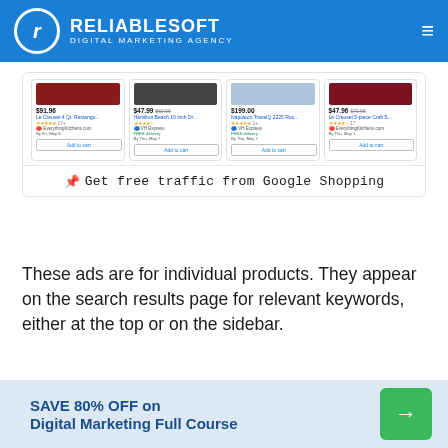RELIABLESOFT DIGITAL MARKETING AGENCY
[Figure (screenshot): Google Shopping product listing screenshot showing 4 products: Le Creuset 4 Qt. Rectangu... $91.96, Hamilton Beach 10 Inch Dr... $47.99, Napoleon TravelQ 2225 Rus... $199.00, Le Creuset 5-piece Craft S... $47.96. Each has Add to cart button. Footer text: Get free traffic from Google Shopping]
These ads are for individual products. They appear on the search results page for relevant keywords, either at the top or on the sidebar.
They also appear in the Shopping tab located at the
SAVE 80% OFF on Digital Marketing Full Course